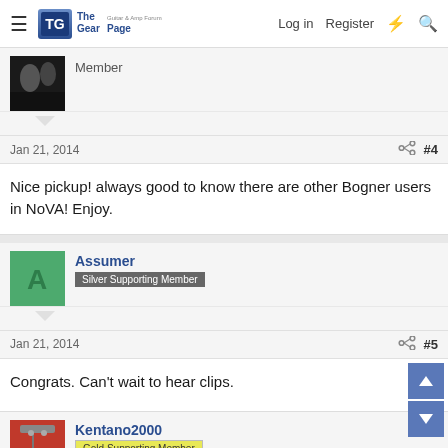The Gear Page — Log in  Register
[Figure (photo): User avatar photo of a musician, dark/black and white]
Member
Jan 21, 2014  #4
Nice pickup! always good to know there are other Bogner users in NoVA! Enjoy.
[Figure (illustration): Green square avatar with letter A]
Assumer
Silver Supporting Member
Jan 21, 2014  #5
Congrats. Can't wait to hear clips.
[Figure (photo): User avatar photo of a guitar]
Kentano2000
Gold Supporting Member